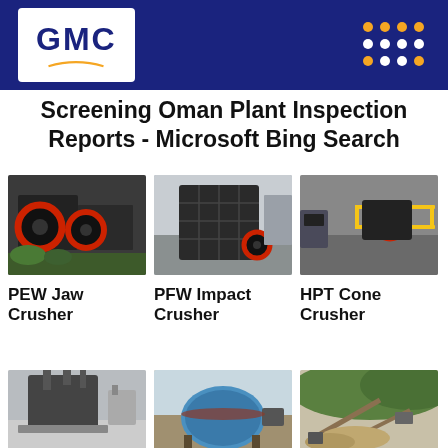[Figure (logo): GMC company logo with white background on dark blue header bar, with orange dot grid pattern on the right]
Screening Oman Plant Inspection Reports - Microsoft Bing Search
[Figure (photo): PEW Jaw Crusher - industrial jaw crusher machinery with large red flywheel]
[Figure (photo): PFW Impact Crusher - large industrial impact crusher in factory]
[Figure (photo): HPT Cone Crusher - cone crusher with red components and yellow safety railing]
PEW Jaw Crusher
PFW Impact Crusher
HPT Cone Crusher
[Figure (photo): Industrial cone crusher machine in factory setting]
[Figure (photo): Blue industrial ball mill or washing machine equipment outdoors]
[Figure (photo): Aerial or ground view of quarry/mining plant with conveyors and green hills]